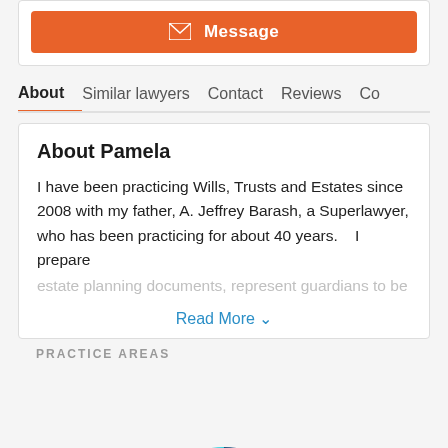Message
About  Similar lawyers  Contact  Reviews  Co
About Pamela
I have been practicing Wills, Trusts and Estates since 2008 with my father, A. Jeffrey Barash, a Superlawyer, who has been practicing for about 40 years.    I prepare estate planning documents, represent guardians to be
Read More
PRACTICE AREAS
[Figure (donut-chart): Partial donut chart showing practice areas in three colors: dark blue (large segment), coral/red-orange (medium segment), and cyan/light blue (large segment), with white hole in center. Chart is partially cut off at bottom.]